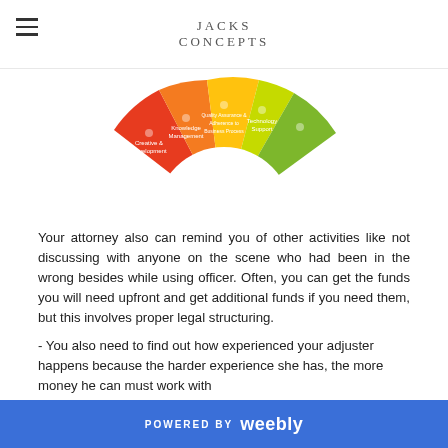JACKS CONCEPTS
[Figure (other): A semi-circular segmented wheel diagram with colored sections (red, orange, yellow, green) containing small icons and text labels for different business concepts including Creative & Development, Knowledge Management, and other categories.]
Your attorney also can remind you of other activities like not discussing with anyone on the scene who had been in the wrong besides while using officer. Often, you can get the funds you will need upfront and get additional funds if you need them, but this involves proper legal structuring.
- You also need to find out how experienced your adjuster happens because the harder experience she has, the more money he can must work with
Why Should I Hire A Personal Injury Attorney?
POWERED BY weebly